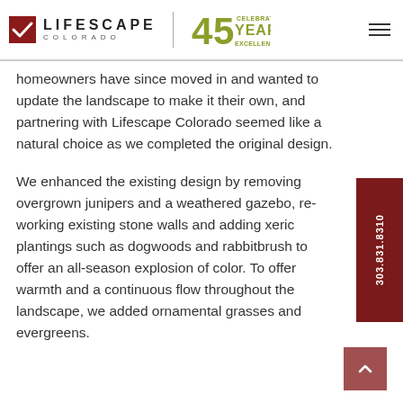LIFESCAPE COLORADO | 45 CELEBRATING YEARS EXCELLENCE
homeowners have since moved in and wanted to update the landscape to make it their own, and partnering with Lifescape Colorado seemed like a natural choice as we completed the original design.
We enhanced the existing design by removing overgrown junipers and a weathered gazebo, re-working existing stone walls and adding xeric plantings such as dogwoods and rabbitbrush to offer an all-season explosion of color. To offer warmth and a continuous flow throughout the landscape, we added ornamental grasses and evergreens.